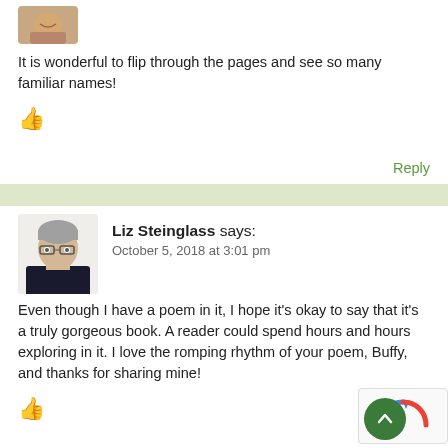[Figure (photo): Partial avatar photo of a person at top of page]
It is wonderful to flip through the pages and see so many familiar names!
[Figure (illustration): Green thumbs up icon (like button)]
Reply
[Figure (illustration): Light green horizontal divider bar]
[Figure (photo): Avatar photo of Liz Steinglass, a woman with short gray hair and glasses]
Liz Steinglass says:
October 5, 2018 at 3:01 pm
Even though I have a poem in it, I hope it's okay to say that it's a truly gorgeous book. A reader could spend hours and hours exploring in it. I love the romping rhythm of your poem, Buffy, and thanks for sharing mine!
[Figure (illustration): Green thumbs up icon (like button)]